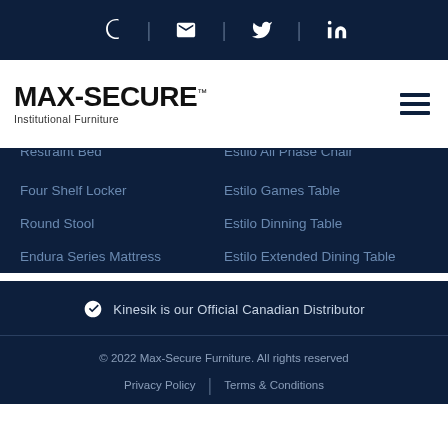Social media icons: phone, email, Twitter, LinkedIn
[Figure (logo): MAX-SECURE Institutional Furniture logo with hamburger menu icon]
Restraint Bed (partially visible)
Estilo All Phase Chair (partially visible)
Four Shelf Locker
Estilo Games Table
Round Stool
Estilo Dinning Table
Endura Series Mattress
Estilo Extended Dining Table
🍁 Kinesik is our Official Canadian Distributor
© 2022 Max-Secure Furniture. All rights reserved
Privacy Policy | Terms & Conditions